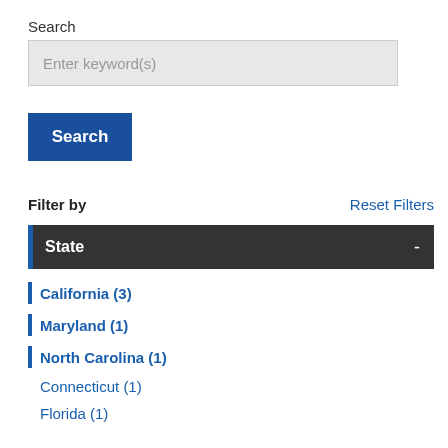Search
Enter keyword(s)
Search
Filter by
Reset Filters
State
California (3)
Maryland (1)
North Carolina (1)
Connecticut (1)
Florida (1)